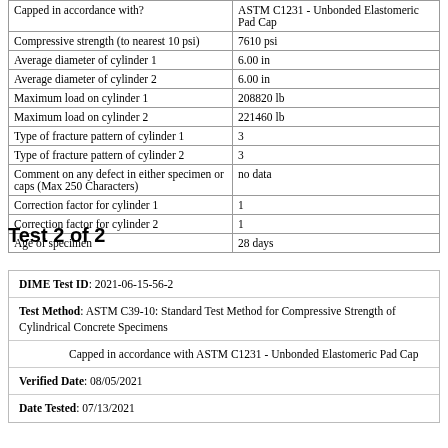| Field | Value |
| --- | --- |
| Capped in accordance with? | ASTM C1231 - Unbonded Elastomeric Pad Cap |
| Compressive strength (to nearest 10 psi) | 7610 psi |
| Average diameter of cylinder 1 | 6.00 in |
| Average diameter of cylinder 2 | 6.00 in |
| Maximum load on cylinder 1 | 208820 lb |
| Maximum load on cylinder 2 | 221460 lb |
| Type of fracture pattern of cylinder 1 | 3 |
| Type of fracture pattern of cylinder 2 | 3 |
| Comment on any defect in either specimen or caps (Max 250 Characters) | no data |
| Correction factor for cylinder 1 | 1 |
| Correction factor for cylinder 2 | 1 |
| Age of specimen | 28 days |
Test 2 of 2
DIME Test ID: 2021-06-15-56-2
Test Method: ASTM C39-10: Standard Test Method for Compressive Strength of Cylindrical Concrete Specimens
Capped in accordance with ASTM C1231 - Unbonded Elastomeric Pad Cap
Verified Date: 08/05/2021
Date Tested: 07/13/2021